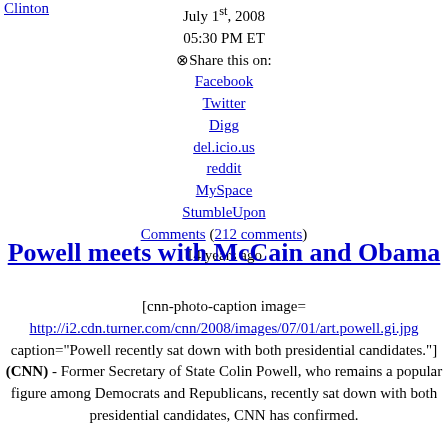Clinton
July 1st, 2008
05:30 PM ET
Share this on:
Facebook
Twitter
Digg
del.icio.us
reddit
MySpace
StumbleUpon
Comments (212 comments)
14 years ago
Powell meets with McCain and Obama
[cnn-photo-caption image= http://i2.cdn.turner.com/cnn/2008/images/07/01/art.powell.gi.jpg caption="Powell recently sat down with both presidential candidates."](CNN) - Former Secretary of State Colin Powell, who remains a popular figure among Democrats and Republicans, recently sat down with both presidential candidates, CNN has confirmed.

The Hotline first reported the meeting earlier Tuesday